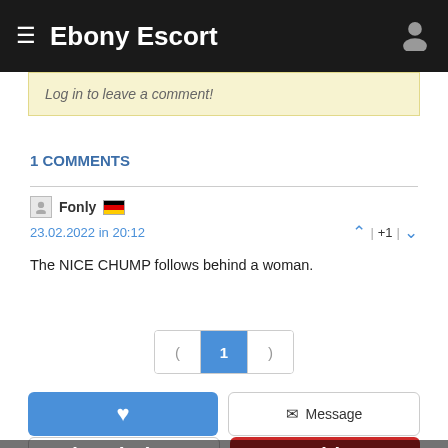Ebony Escort
Log in to leave a comment!
1 COMMENTS
Fonly  23.02.2022 in 20:12  | +1 |
The NICE CHUMP follows behind a woman.
( 1 )
♥  Message  ✉ Review  ⚠ Report  Call  ✉
Sretenieva (23), Cyprus, escort girl